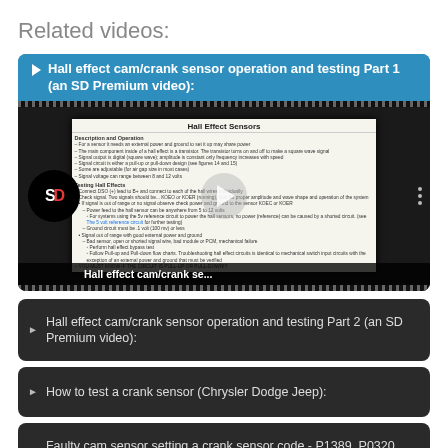Related videos:
Hall effect cam/crank sensor operation and testing Part 1 (an SD Premium video):
[Figure (screenshot): Video thumbnail showing a Hall Effect Sensors document page with SD logo, play button overlay, and Hall effect cam/crank se... title bar]
Hall effect cam/crank sensor operation and testing Part 2 (an SD Premium video):
How to test a crank sensor (Chrysler Dodge Jeep):
Faulty cam sensor setting a crank sensor code - P1389, P0320, P0622: